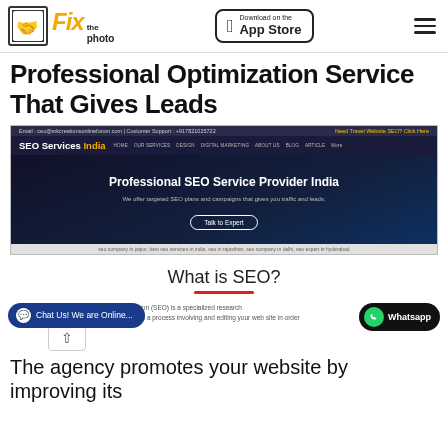Fix the photo | Download on the App Store
Professional Optimization Service That Gives Leads
[Figure (screenshot): Screenshot of SEO Services India website showing a dark navy navigation bar with brand name 'SEO Services India', hero section with text 'Professional SEO Service Provider India', subtext 'We offer targeted SEO plans and campaigns that gives you traffic and leads.', a 'Talk to Expert' button, and footer tags for seo company in jaipur, best seo services in india, seo in rajasthan, seo company in delhi, seo expert in hyderabad]
What is SEO?
...ion (SEO) is a specialized research...is a process involving and editing your web site in order
The agency promotes your website by improving its